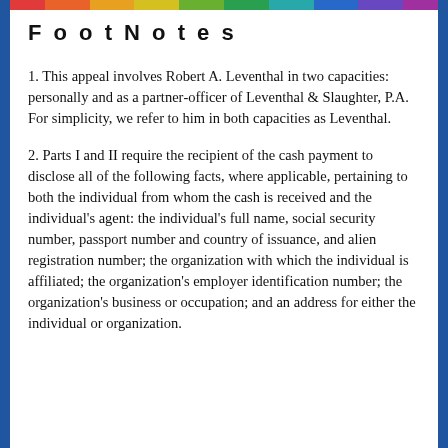FootNotes
1. This appeal involves Robert A. Leventhal in two capacities: personally and as a partner-officer of Leventhal & Slaughter, P.A. For simplicity, we refer to him in both capacities as Leventhal.
2. Parts I and II require the recipient of the cash payment to disclose all of the following facts, where applicable, pertaining to both the individual from whom the cash is received and the individual's agent: the individual's full name, social security number, passport number and country of issuance, and alien registration number; the organization with which the individual is affiliated; the organization's employer identification number; the organization's business or occupation; and an address for either the individual or organization.